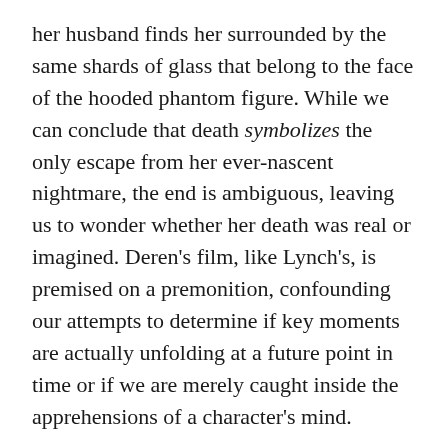her husband finds her surrounded by the same shards of glass that belong to the face of the hooded phantom figure. While we can conclude that death symbolizes the only escape from her ever-nascent nightmare, the end is ambiguous, leaving us to wonder whether her death was real or imagined. Deren's film, like Lynch's, is premised on a premonition, confounding our attempts to determine if key moments are actually unfolding at a future point in time or if we are merely caught inside the apprehensions of a character's mind.
Deren's legacy is palpable in Lynch's will to externalize the psyche through cinema. An outspoken anti-realist, Deren affirmed that if